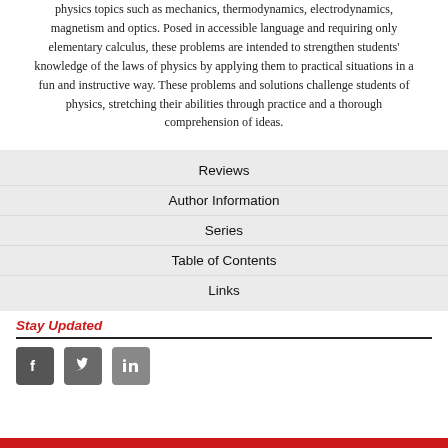physics topics such as mechanics, thermodynamics, electrodynamics, magnetism and optics. Posed in accessible language and requiring only elementary calculus, these problems are intended to strengthen students' knowledge of the laws of physics by applying them to practical situations in a fun and instructive way. These problems and solutions challenge students of physics, stretching their abilities through practice and a thorough comprehension of ideas.
Reviews
Author Information
Series
Table of Contents
Links
Stay Updated
[Figure (infographic): Social media icons for Facebook, Twitter, and LinkedIn]